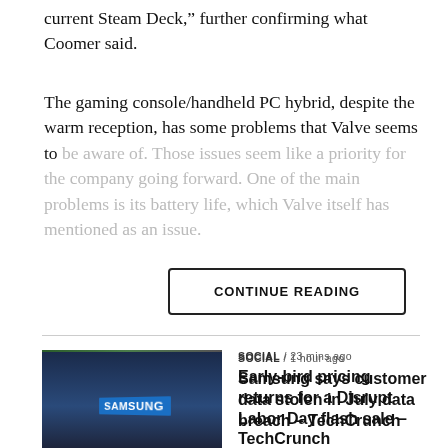current Steam Deck,” further confirming what Coomer said.
The gaming console/handheld PC hybrid, despite the warm reception, has some problems that Valve seems to be aware of. Those issues seem like a priority for the company going forward. One of the main problems is its battery life, which Valve itself has mentioned as an issue.
CONTINUE READING
[Figure (photo): Photo showing TechCrunch Disrupt event crowd with green Disrupt banners]
SOCIAL / 23 mins ago
Early-bird pricing returns for a Disrupt Labor Day flash sale – TechCrunch
[Figure (photo): Photo of Samsung building exterior with blue Samsung sign]
SOCIAL / 1 hour ago
Samsung says customer data stolen in July data breach – TechCrunch